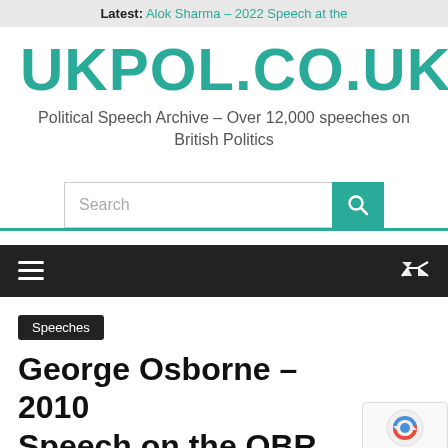Latest: Alok Sharma – 2022 Speech at the
UKPOL.CO.UK
Political Speech Archive – Over 12,000 speeches on British Politics
Speeches
George Osborne – 2010 Speech on the OBR